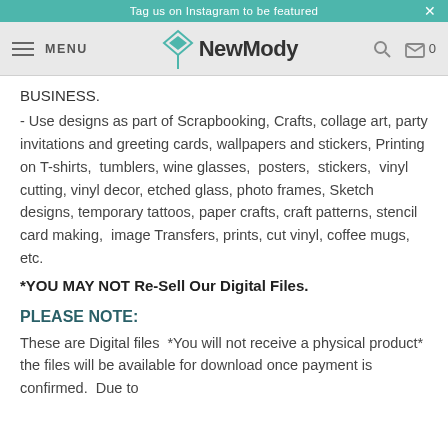Tag us on Instagram to be featured
[Figure (logo): NewMody website navigation bar with hamburger menu, teal diamond logo, NewMody text, search icon, and cart icon showing 0]
BUSINESS.
- Use designs as part of Scrapbooking, Crafts, collage art, party invitations and greeting cards, wallpapers and stickers, Printing on T-shirts, tumblers, wine glasses, posters, stickers, vinyl cutting, vinyl decor, etched glass, photo frames, Sketch designs, temporary tattoos, paper crafts, craft patterns, stencil card making, image Transfers, prints, cut vinyl, coffee mugs, etc.
*YOU MAY NOT Re-Sell Our Digital Files.
PLEASE NOTE:
These are Digital files  *You will not receive a physical product* the files will be available for download once payment is confirmed.  Due to